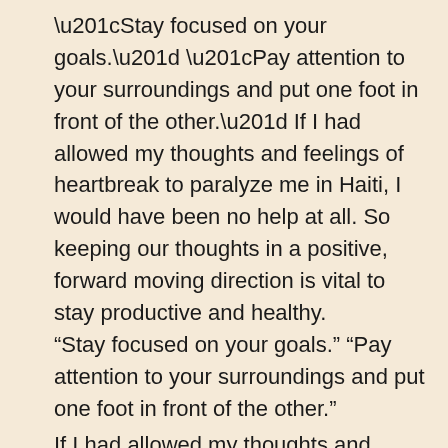“Stay focused on your goals.” “Pay attention to your surroundings and put one foot in front of the other.” If I had allowed my thoughts and feelings of heartbreak to paralyze me in Haiti, I would have been no help at all. So keeping our thoughts in a positive, forward moving direction is vital to stay productive and healthy.
Third, resist getting sucked into the panic and emotion around you. Learn to take a deep breath and detach from the drama, the panic, the fear, so you can stay grounded and clear headed, able to make the decisions that are best for the situation.